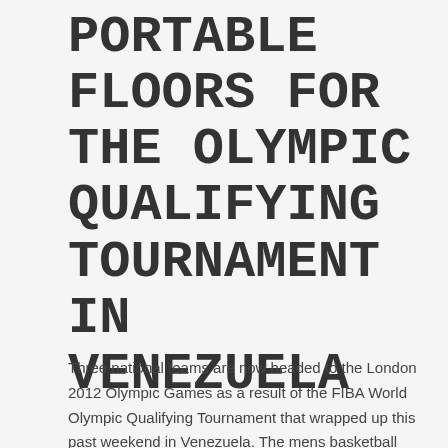PORTABLE FLOORS FOR THE OLYMPIC QUALIFYING TOURNAMENT IN VENEZUELA
Three national teams are now headed to the London 2012 Olympic Games as a result of the FIBA World Olympic Qualifying Tournament that wrapped up this past weekend in Venezuela. The mens basketball tournament consisted of